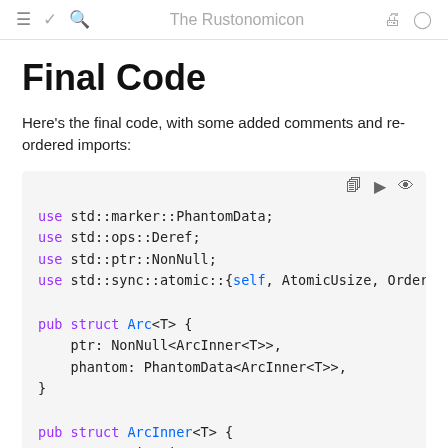≡  ✓  🔍  The Rustonomicon  🖨  GitHub
Final Code
Here's the final code, with some added comments and re-ordered imports:
use std::marker::PhantomData;
use std::ops::Deref;
use std::ptr::NonNull;
use std::sync::atomic::{self, AtomicUsize, Order

pub struct Arc<T> {
    ptr: NonNull<ArcInner<T>>,
    phantom: PhantomData<ArcInner<T>>,
}

pub struct ArcInner<T> {
    rc: AtomicUsize,
    data: T,